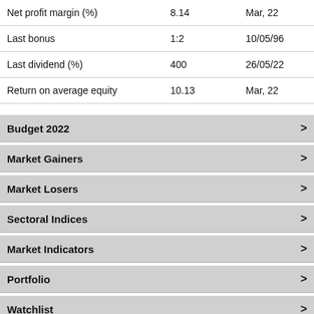|  |  |  |
| --- | --- | --- |
| Net profit margin (%) | 8.14 | Mar, 22 |
| Last bonus | 1:2 | 10/05/96 |
| Last dividend (%) | 400 | 26/05/22 |
| Return on average equity | 10.13 | Mar, 22 |
Budget 2022 >
Market Gainers >
Market Losers >
Sectoral Indices >
Market Indicators >
Portfolio >
Watchlist >